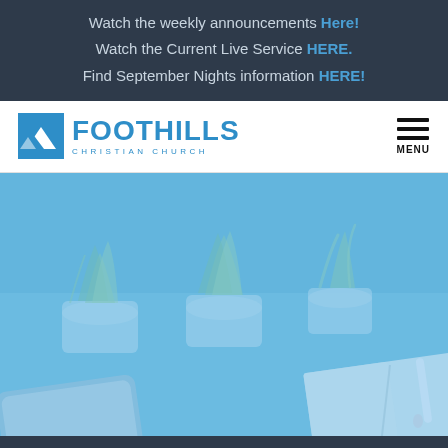Watch the weekly announcements Here!
Watch the Current Live Service HERE.
Find September Nights information HERE!
[Figure (logo): Foothills Christian Church logo with blue mountain/house icon and stylized text]
MENU
[Figure (photo): Blue-tinted overhead photo showing potted succulent plants, an open notebook with a pen, and a smartphone on a desk surface]